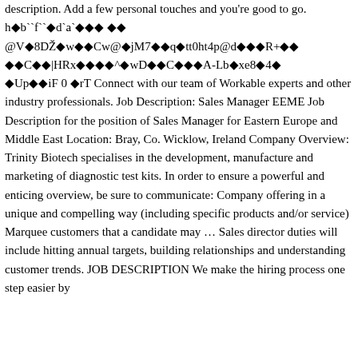description. Add a few personal touches and you're good to go. h� b``f``�d`a`��� �� @V�8DŽ￾w��Cw@�jM7��q�tt0ht4p@d���R+�� ��C��|HRx����^�wD��C���A-Lb￾xe8�4� �Up��iF 0 �rT Connect with our team of Workable experts and other industry professionals. Job Description: Sales Manager EEME Job Description for the position of Sales Manager for Eastern Europe and Middle East Location: Bray, Co. Wicklow, Ireland Company Overview: Trinity Biotech specialises in the development, manufacture and marketing of diagnostic test kits. In order to ensure a powerful and enticing overview, be sure to communicate: Company offering in a unique and compelling way (including specific products and/or service) Marquee customers that a candidate may … Sales director duties will include hitting annual targets, building relationships and understanding customer trends. JOB DESCRIPTION We make the hiring process one step easier by